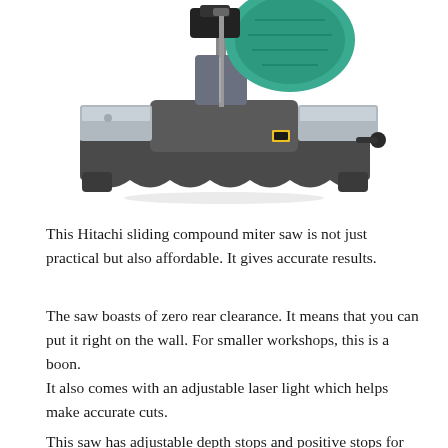[Figure (photo): Photo of a Hitachi sliding compound miter saw, showing the silver and dark gray body with a teal/green motor housing on top, mounted on a base with fence extensions on both sides.]
This Hitachi sliding compound miter saw is not just practical but also affordable. It gives accurate results.
The saw boasts of zero rear clearance. It means that you can put it right on the wall. For smaller workshops, this is a boon.
It also comes with an adjustable laser light which helps make accurate cuts.
This saw has adjustable depth stops and positive stops for quick